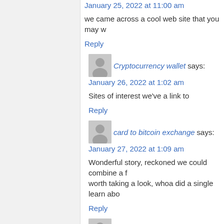January 25, 2022 at 11:00 am
we came across a cool web site that you may w
Reply
Cryptocurrency wallet says:
January 26, 2022 at 1:02 am
Sites of interest we've a link to
Reply
card to bitcoin exchange says:
January 27, 2022 at 1:09 am
Wonderful story, reckoned we could combine a few worth taking a look, whoa did a single learn abo
Reply
Buy Weed Online says:
January 28, 2022 at 2:31 pm
we like to honor lots of other world wide web we linking to them. Below are some webpages wort